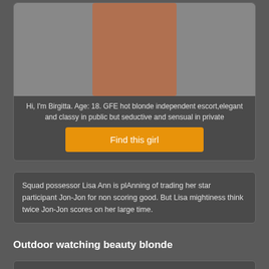[Figure (photo): Photo of a person in a dark card container at the top]
Hi, I'm Birgitta. Age: 18. GFE hot blonde independent escort,elegant and classy in public but seductive and sensual in private
Find this girl
Squad possessor Lisa Ann is plAnning of trading her star participant Jon-Jon for non scoring good. But Lisa mightiness think twice Jon-Jon scores on her large time.
Outdoor watching beauty blonde